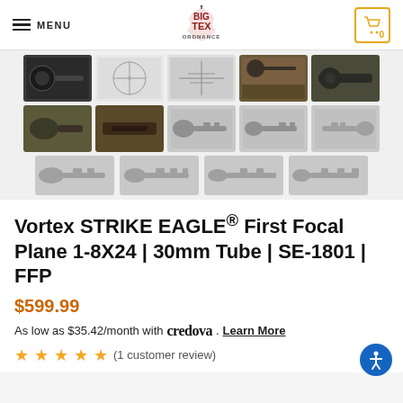Big Tex Ordnance - Menu / Cart navigation header
[Figure (photo): Product image thumbnail gallery showing Vortex Strike Eagle scope from various angles — scope photos, reticle views, field use images, and silhouette diagrams]
Vortex STRIKE EAGLE® First Focal Plane 1-8X24 | 30mm Tube | SE-1801 | FFP
$599.99
As low as $35.42/month with credova . Learn More
★★★★★ (1 customer review)